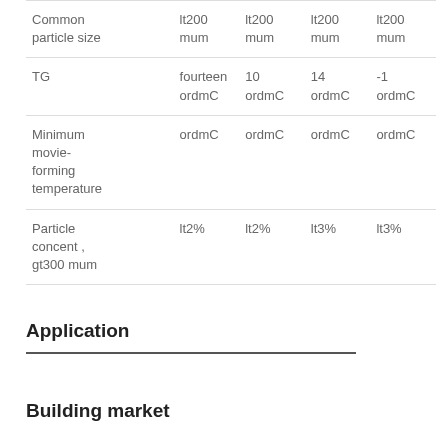|  |  |  |  |  |
| --- | --- | --- | --- | --- |
| Common particle size | lt200 mum | lt200 mum | lt200 mum | lt200 mum |
| TG | fourteen ordmC | 10 ordmC | 14 ordmC | -1 ordmC |
| Minimum movie-forming temperature | ordmC | ordmC | ordmC | ordmC |
| Particle concent , gt300 mum | lt2% | lt2% | lt3% | lt3% |
Application
Building market